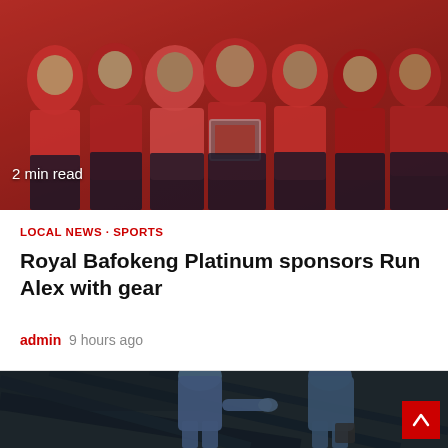[Figure (photo): Group of people wearing red and black athletic jackets/jerseys, one person holding a framed item, likely a sponsor presentation photo. Label '2 min read' overlaid at bottom left.]
LOCAL NEWS · SPORTS
Royal Bafokeng Platinum sponsors Run Alex with gear
admin  9 hours ago
[Figure (photo): Two people wearing blue jackets/uniforms shaking hands or interacting, photographed from behind on what appears to be a stadium or concrete structure at night. A red back-to-top button is visible in the lower right corner.]